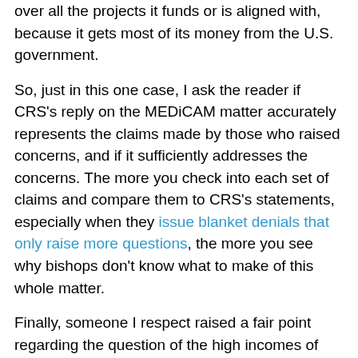over all the projects it funds or is aligned with, because it gets most of its money from the U.S. government.
So, just in this one case, I ask the reader if CRS's reply on the MEDiCAM matter accurately represents the claims made by those who raised concerns, and if it sufficiently addresses the concerns. The more you check into each set of claims and compare them to CRS's statements, especially when they issue blanket denials that only raise more questions, the more you see why bishops don't know what to make of this whole matter.
Finally, someone I respect raised a fair point regarding the question of the high incomes of CRS leadership in the Crisis article. I didn't present this well – it came across as ad hominem, and everyone I've met who knows Carolyn Woo speaks highly of her. The idea was